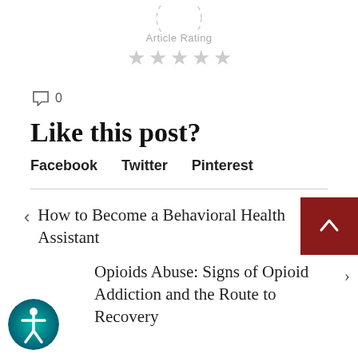[Figure (other): Article rating section with label 'Article Rating' and five empty gray stars below a partially visible dashed circle]
0
Like this post?
Facebook   Twitter   Pinterest
How to Become a Behavioral Health Assistant
Opioids Abuse: Signs of Opioid Addiction and the Route to Recovery
[Figure (other): Accessibility icon button (circular teal/green gradient with person icon)]